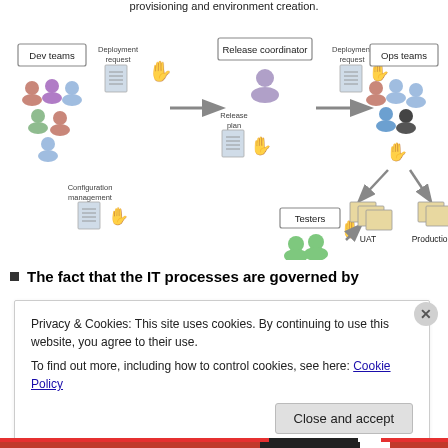[Figure (flowchart): Workflow diagram showing Dev teams and Configuration management on the left sending Deployment requests through a Release coordinator, who sends Deployment requests to Ops teams on the right. Ops teams manage UAT and Production environments. Testers interact with UAT. Hand icons indicate manual handoffs.]
The fact that the IT processes are governed by
Privacy & Cookies: This site uses cookies. By continuing to use this website, you agree to their use.
To find out more, including how to control cookies, see here: Cookie Policy
Close and accept